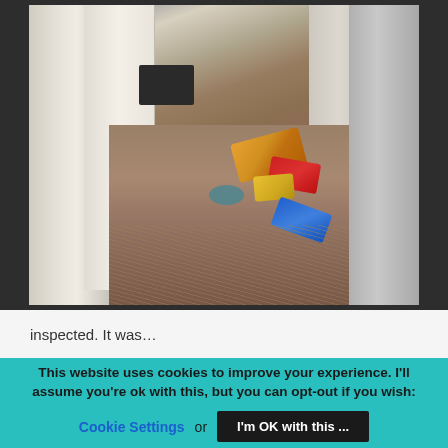[Figure (photo): Interior photo of a dark, cluttered space viewed between concrete/white-painted pillars. The floor is dirty and covered with straw or debris. Several pieces of litter including food packaging wrappers (orange, red, yellow, blue) are scattered on the floor. A dark rectangular object (possibly a bag or box) sits on the floor in the background.]
inspected. It was...
This website uses cookies to improve your experience. I'll assume you're ok with this, but you can opt-out if you wish: Cookie Settings or I'm OK with this ...